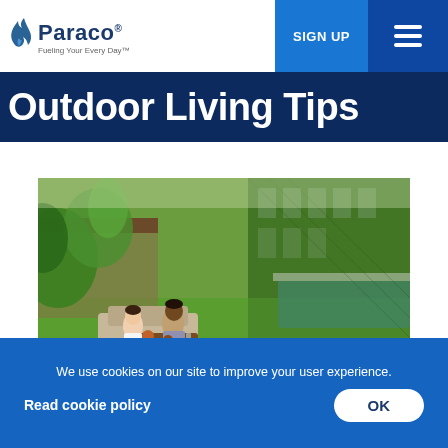Paraco — Fueling Your Every Day™ | SIGN UP
Outdoor Living Tips
[Figure (photo): A couple sitting at an outdoor wooden table on a lush green lawn, surrounded by tropical plants and a building covered in climbing vines, with a swimming pool in the background.]
D...
We use cookies on our site to improve your user experience.
Read cookie policy
OK